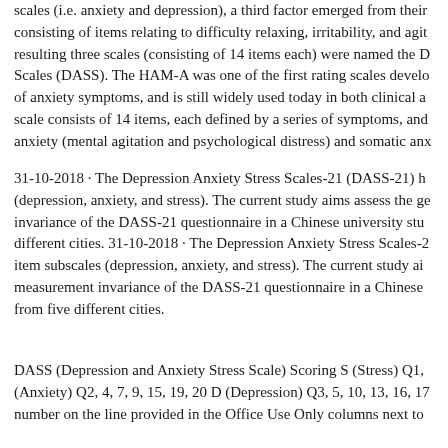scales (i.e. anxiety and depression), a third factor emerged from their consisting of items relating to difficulty relaxing, irritability, and agit resulting three scales (consisting of 14 items each) were named the D Scales (DASS). The HAM-A was one of the first rating scales develo of anxiety symptoms, and is still widely used today in both clinical a scale consists of 14 items, each defined by a series of symptoms, and anxiety (mental agitation and psychological distress) and somatic anx
31-10-2018 · The Depression Anxiety Stress Scales-21 (DASS-21) h (depression, anxiety, and stress). The current study aims assess the ge invariance of the DASS-21 questionnaire in a Chinese university stu different cities. 31-10-2018 · The Depression Anxiety Stress Scales-2 item subscales (depression, anxiety, and stress). The current study ai measurement invariance of the DASS-21 questionnaire in a Chinese from five different cities.
DASS (Depression and Anxiety Stress Scale) Scoring S (Stress) Q1, (Anxiety) Q2, 4, 7, 9, 15, 19, 20 D (Depression) Q3, 5, 10, 13, 16, 17 number on the line provided in the Office Use Only columns next to